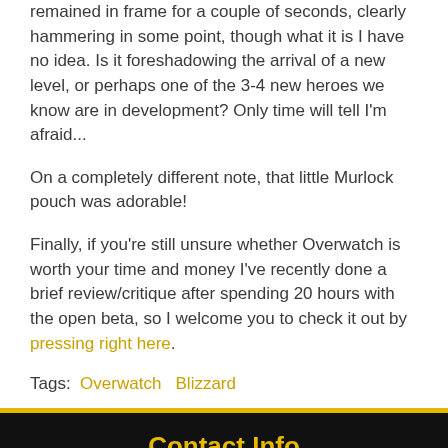remained in frame for a couple of seconds, clearly hammering in some point, though what it is I have no idea. Is it foreshadowing the arrival of a new level, or perhaps one of the 3-4 new heroes we know are in development? Only time will tell I'm afraid...
On a completely different note, that little Murlock pouch was adorable!
Finally, if you're still unsure whether Overwatch is worth your time and money I've recently done a brief review/critique after spending 20 hours with the open beta, so I welcome you to check it out by pressing right here.
Tags:  Overwatch    Blizzard
Contact Info
For Developers
Advertising
All Contacts